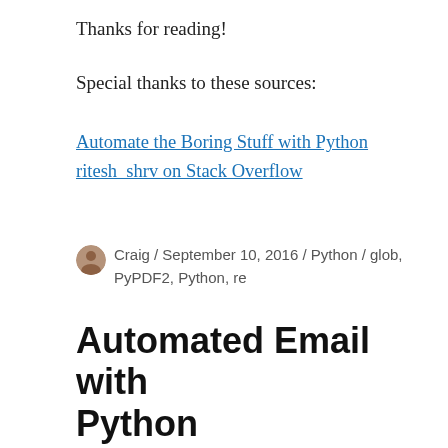Thanks for reading!
Special thanks to these sources:
Automate the Boring Stuff with Python
ritesh_shrv on Stack Overflow
Craig / September 10, 2016 / Python / glob, PyPDF2, Python, re
Automated Email with Python
Automated email notifications and task tracking system.